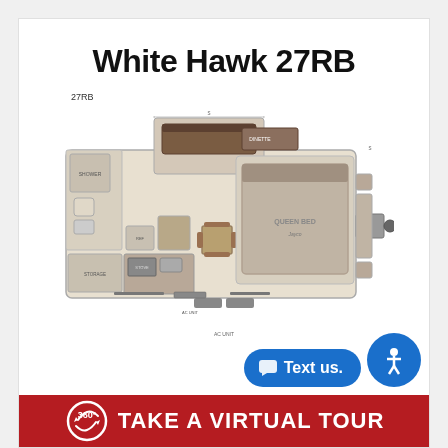White Hawk 27RB
[Figure (schematic): Floor plan diagram of the White Hawk 27RB travel trailer showing interior layout including bedroom, bathroom, kitchen, and living area with slide-out. Labeled '27RB'.]
TAKE A VIRTUAL TOUR
[Figure (logo): 360 degree tour icon (circular arrow icon) next to 'TAKE A VIRTUAL TOUR' text on red banner]
[Figure (other): Blue 'Text us!' button with chat bubble icon and blue accessibility icon button (person with circle)]